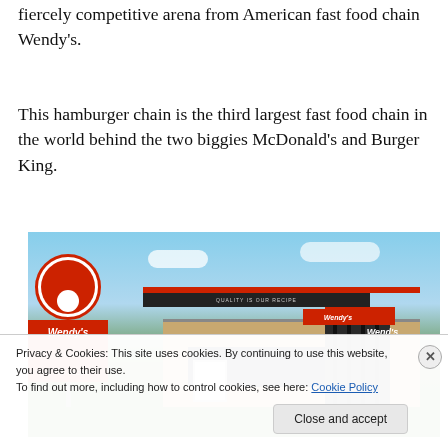fiercely competitive arena from American fast food chain Wendy's.
This hamburger chain is the third largest fast food chain in the world behind the two biggies McDonald's and Burger King.
[Figure (photo): Exterior photo of a Wendy's fast food restaurant with the iconic red Wendy's pole sign on the left showing 'Wendy's Quality is our Recipe', and the modern building with red and dark accents and a Wendy's sign on the facade, set against a partly cloudy sky.]
Privacy & Cookies: This site uses cookies. By continuing to use this website, you agree to their use.
To find out more, including how to control cookies, see here: Cookie Policy